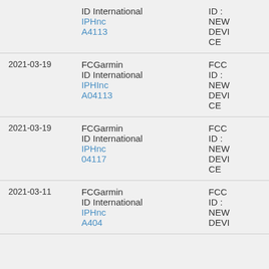| Date | Name/ID | Status |
| --- | --- | --- |
|  | ID International
IPHnc
A4113 | ID :
NEW
DEVI
CE |
| 2021-03-19 | FCGarmin
ID International
IPHInc
A04113 | FCC
ID :
NEW
DEVI
CE |
| 2021-03-19 | FCGarmin
ID International
IPHnc
04117 | FCC
ID :
NEW
DEVI
CE |
| 2021-03-11 | FCGarmin
ID International
IPHnc
A404... | FCC
ID :
NEW
DEVI... |